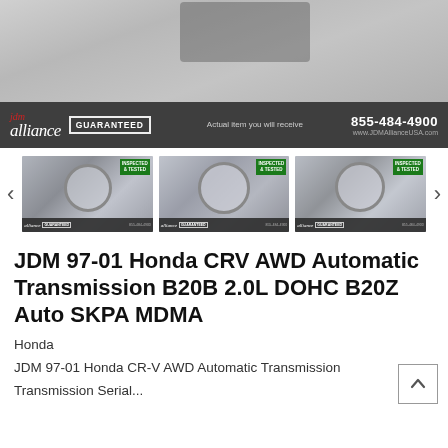[Figure (photo): Main product photo showing JDM Honda CRV AWD Automatic Transmission with JDM Alliance branding banner at bottom showing 'GUARANTEED', '855-484-4900', and 'www.JDMAllianceUSA.com']
[Figure (photo): Thumbnail gallery with three images of the transmission from different angles, with left/right navigation arrows]
JDM 97-01 Honda CRV AWD Automatic Transmission B20B 2.0L DOHC B20Z Auto SKPA MDMA
Honda
JDM 97-01 Honda CR-V AWD Automatic Transmission
Transmission Serial...